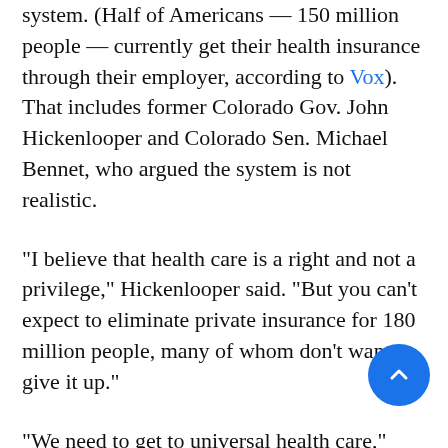system. (Half of Americans — 150 million people — currently get their health insurance through their employer, according to Vox). That includes former Colorado Gov. John Hickenlooper and Colorado Sen. Michael Bennet, who argued the system is not realistic.
“I believe that health care is a right and not a privilege,” Hickenlooper said. “But you can’t expect to eliminate private insurance for 180 million people, many of whom don’t want to give it up.”
“We need to get to universal health care,” Bennet said. “I believe the way to do that is by finishing the work we started with Obamacare and creating a public option that every family and every person in America can make a choice for their family about whether want a public option, which for them would be like having Medicare for all, or whether they want to keep